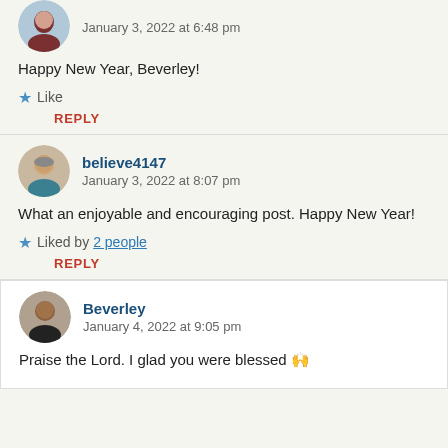January 3, 2022 at 6:48 pm
Happy New Year, Beverley!
★ Like
REPLY
believe4147
January 3, 2022 at 8:07 pm
What an enjoyable and encouraging post. Happy New Year!
★ Liked by 2 people
REPLY
Beverley
January 4, 2022 at 9:05 pm
Praise the Lord. I glad you were blessed 🙌